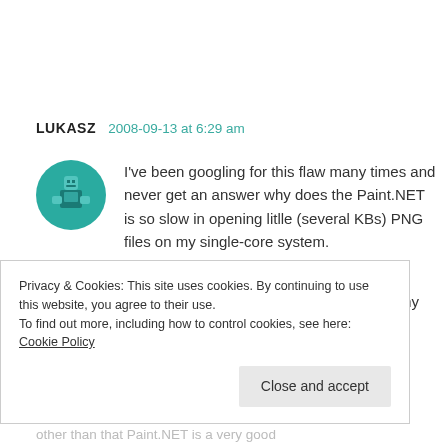LUKASZ   2008-09-13 at 6:29 am
[Figure (illustration): Teal/green circular avatar icon with a pixel-art style person/character in the center]
I've been googling for this flaw many times and never get an answer why does the Paint.NET is so slow in opening litlle (several KBs) PNG files on my single-core system.

I suspected that this behaviour was due to some "cache-routine", that was scanning my system in
Privacy & Cookies: This site uses cookies. By continuing to use this website, you agree to their use.
To find out more, including how to control cookies, see here: Cookie Policy
Close and accept
other than that Paint.NET is a very good